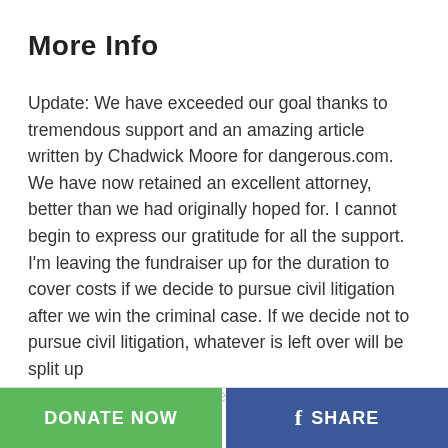More Info
Update: We have exceeded our goal thanks to tremendous support and an amazing article written by Chadwick Moore for dangerous.com. We have now retained an excellent attorney, better than we had originally hoped for. I cannot begin to express our gratitude for all the support. I'm leaving the fundraiser up for the duration to cover costs if we decide to pursue civil litigation after we win the criminal case. If we decide not to pursue civil litigation, whatever is left over will be split up
READ MORE
DONATE NOW
f SHARE